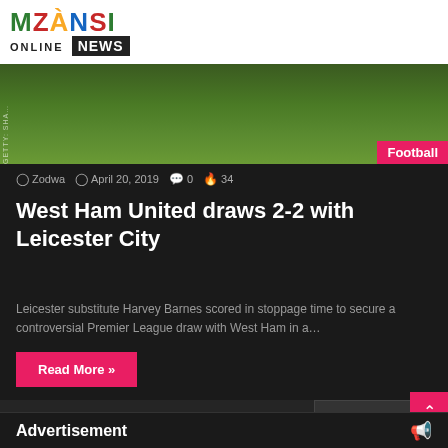[Figure (logo): Mzansi Online News logo with colorful letters and black NEWS box]
[Figure (photo): Football pitch green grass background with Football tag in pink/red bottom right]
Zodwa  April 20, 2019  0  34
West Ham United draws 2-2 with Leicester City
Leicester substitute Harvey Barnes scored in stoppage time to secure a controversial Premier League draw with West Ham in a…
Read More »
Next page  >
Advertisement